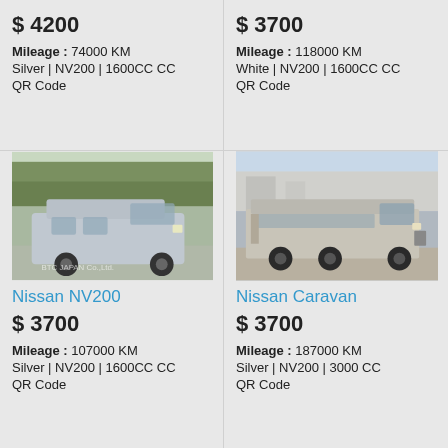$ 4200
Mileage : 74000 KM
Silver | NV200 | 1600CC CC
QR Code
$ 3700
Mileage : 118000 KM
White | NV200 | 1600CC CC
QR Code
[Figure (photo): Silver Nissan NV200 van parked outdoors with trees in background]
[Figure (photo): Silver Nissan Caravan large van parked outdoors]
Nissan NV200
$ 3700
Mileage : 107000 KM
Silver | NV200 | 1600CC CC
QR Code
Nissan Caravan
$ 3700
Mileage : 187000 KM
Silver | NV200 | 3000 CC
QR Code